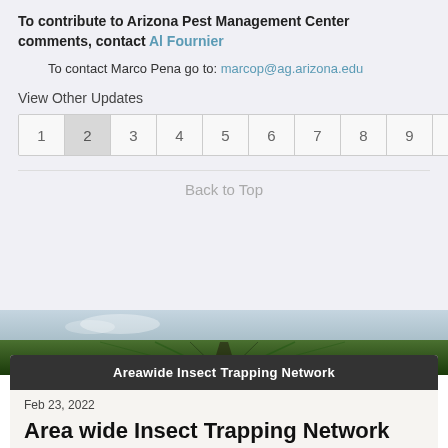To contribute to Arizona Pest Management Center comments, contact Al Fournier
To contact Marco Pena go to: marcop@ag.arizona.edu
View Other Updates
| 1 | 2 | 3 | 4 | 5 | 6 | 7 | 8 | 9 | 10 | » |
Back to Top
[Figure (photo): Aerial view of green farm field with road leading to horizon under a cloudy sky]
Areawide Insect Trapping Network
Feb 23, 2022
Area wide Insect Trapping Network (February 23, 2022)
Results of pheromone and sticky trap catches can be